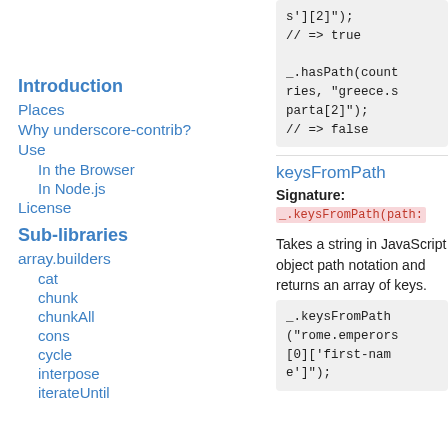Introduction
Places
Why underscore-contrib?
Use
In the Browser
In Node.js
License
Sub-libraries
array.builders
cat
chunk
chunkAll
cons
cycle
interpose
iterateUntil
s'][2]");
// => true

_.hasPath(countries, "greece.sparta[2]");
// => false
keysFromPath
Signature:
_.keysFromPath(path:
Takes a string in JavaScript object path notation and returns an array of keys.
_.keysFromPath("rome.emperors[0]['first-name']");